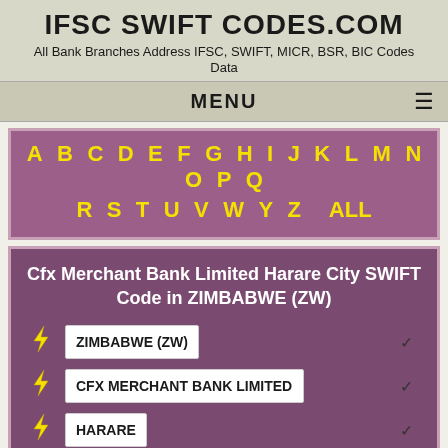IFSC SWIFT CODES.COM
All Bank Branches Address IFSC, SWIFT, MICR, BSR, BIC Codes Data
MENU
A B C D E F G H I J K L M N O P Q R S T U V W Y Z ALL
Cfx Merchant Bank Limited Harare City SWIFT Code in ZIMBABWE (ZW)
ZIMBABWE (ZW)
CFX MERCHANT BANK LIMITED
HARARE